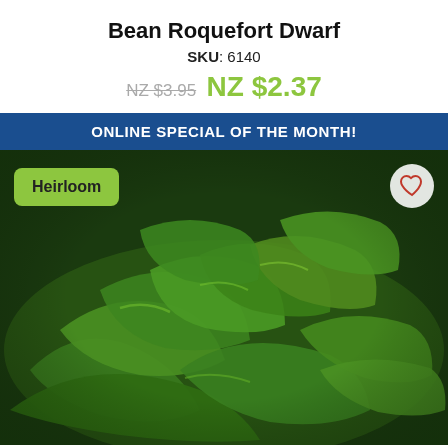Bean Roquefort Dwarf
SKU: 6140
NZ $3.95  NZ $2.37
ONLINE SPECIAL OF THE MONTH!
[Figure (photo): Close-up photo of green bean pods (dwarf beans), showing many elongated green beans clustered together with a white flower and green foliage visible. A yellow-green 'Heirloom' badge appears at the top left, and a heart/favorite button is at the top right.]